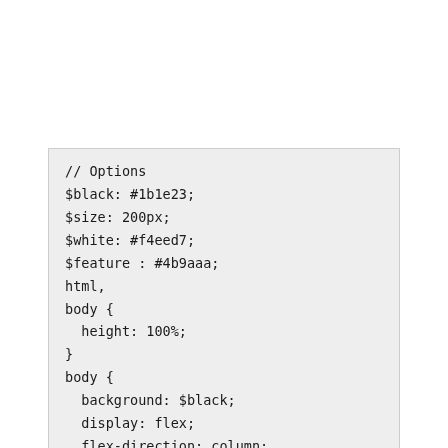// Options
$black: #1b1e23;
$size: 200px;
$white: #f4eed7;
$feature : #4b9aaa;
html,
body {
  height: 100%;
}
body {
  background: $black;
  display: flex;
  flex-direction: column;
  justify-content: center;
  align-items: center;
  font-family: sans-serif;